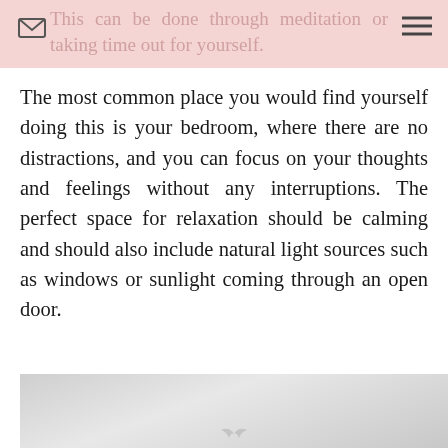This can be done through meditation or taking time out for yourself.
The most common place you would find yourself doing this is your bedroom, where there are no distractions, and you can focus on your thoughts and feelings without any interruptions. The perfect space for relaxation should be calming and should also include natural light sources such as windows or sunlight coming through an open door.
[Figure (photo): A light grey/white photo, partial view, appears to show an interior scene, possibly a bedroom, with a small bird-like silhouette visible at the bottom center.]